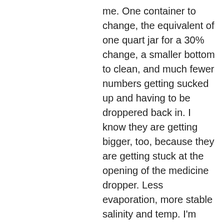me. One container to change, the equivalent of one quart jar for a 30% change, a smaller bottom to clean, and much fewer numbers getting sucked up and having to be droppered back in. I know they are getting bigger, too, because they are getting stuck at the opening of the medicine dropper. Less evaporation, more stable salinity and temp. I'm feeling good about this now. Whew. I was panicking there for a couple hours.
Oh, and I counted. I put in 185 live zoeae.